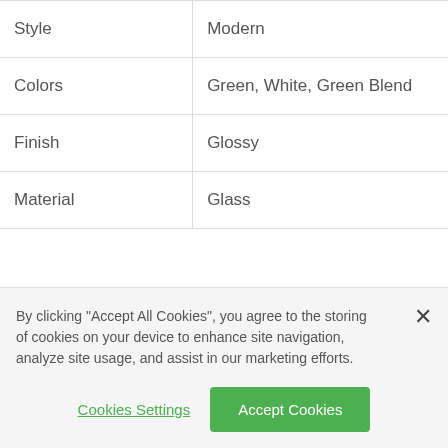| Style | Modern |
| Colors | Green, White, Green Blend |
| Finish | Glossy |
| Material | Glass |
By clicking "Accept All Cookies", you agree to the storing of cookies on your device to enhance site navigation, analyze site usage, and assist in our marketing efforts.
Cookies Settings
Accept Cookies